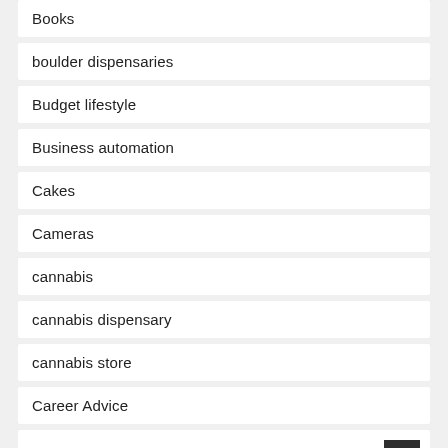Books
boulder dispensaries
Budget lifestyle
Business automation
Cakes
Cameras
cannabis
cannabis dispensary
cannabis store
Career Advice
Cars
cash for cars